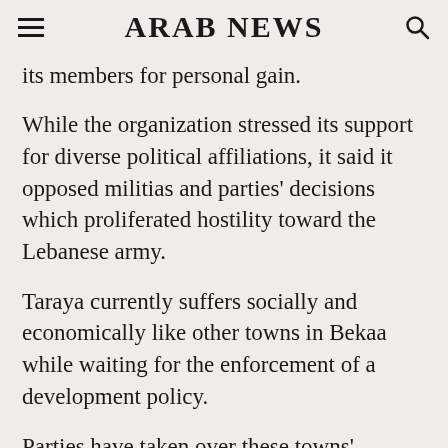ARAB NEWS
its members for personal gain.
While the organization stressed its support for diverse political affiliations, it said it opposed militias and parties’ decisions which proliferated hostility toward the Lebanese army.
Taraya currently suffers socially and economically like other towns in Bekaa while waiting for the enforcement of a development policy.
Parties have taken over these towns’ municipalities, notably Hezbollah, which has infiltrated social lives, imposed traditions, and even controlled decisions in these places.